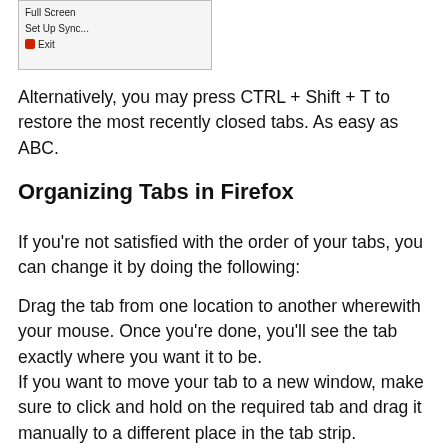[Figure (screenshot): Screenshot of a browser menu showing options: Full screen, Set Up Sync..., and Exit (with a red icon)]
Alternatively, you may press CTRL + Shift + T to restore the most recently closed tabs. As easy as ABC.
Organizing Tabs in Firefox
If you're not satisfied with the order of your tabs, you can change it by doing the following:
Drag the tab from one location to another wherewith your mouse. Once you're done, you'll see the tab exactly where you want it to be.
If you want to move your tab to a new window, make sure to click and hold on the required tab and drag it manually to a different place in the tab strip.
Should you want to group your tabs, click the List All Table